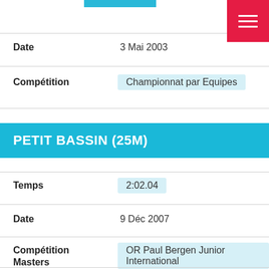Date
3 Mai 2003
Compétition
Championnat par Equipes
PETIT BASSIN (25M)
Temps
2:02.04
Date
9 Déc 2007
Compétition
OR Paul Bergen Junior International
Masters